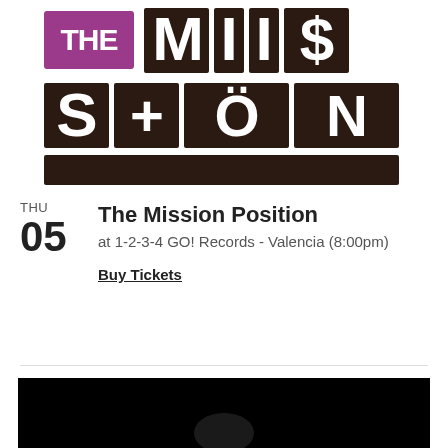[Figure (logo): The Mission Position logo — bold dark brown/black blocky letter tiles spelling out 'THE MISSION' with 'THE' in a purple/magenta rectangle, large block letters M, I, S, S on top row and S, T (as plus), O, N on bottom row]
THU
The Mission Position
at 1-2-3-4 GO! Records - Valencia (8:00pm)
Buy Tickets
[Figure (photo): Dark/black background photo, partially visible, appears to be a concert or event image]